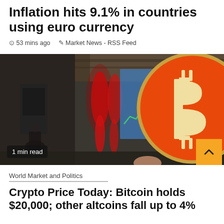Inflation hits 9.1% in countries using euro currency
⊙ 53 mins ago  ✎ Market News - RSS Feed
[Figure (photo): Financial news image showing a Bitcoin logo (orange circle with white B symbol) alongside blurred stock market display screens showing red lights]
1 min read
World Market and Politics
Crypto Price Today: Bitcoin holds $20,000; other altcoins fall up to 4%